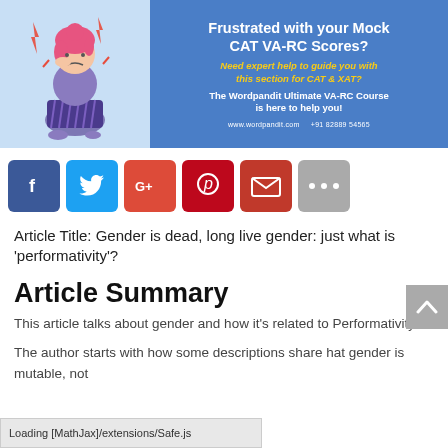[Figure (illustration): Advertisement banner for Wordpandit VA-RC Course. Left side shows a cartoon illustration of a stressed girl with pink hair holding her head, with lightning bolt symbols. Right side has blue background with text: 'Frustrated with your Mock CAT VA-RC Scores? Need expert help to guide you with this section for CAT & XAT? The Wordpandit Ultimate VA-RC Course is here to help you! www.wordpandit.com +91 82889 54565']
[Figure (infographic): Social sharing button bar with 6 icons: Facebook (dark blue, f), Twitter (light blue, bird), Google+ (orange-red, G+), Pinterest (red, P), Email (dark red, envelope), More (gray, ...)]
Article Title: Gender is dead, long live gender: just what is ‘performativity’?
Article Summary
This article talks about gender and how it’s related to Performativity.
The author starts with how some descriptions share hat gender is mutable, not
Loading [MathJax]/extensions/Safe.js